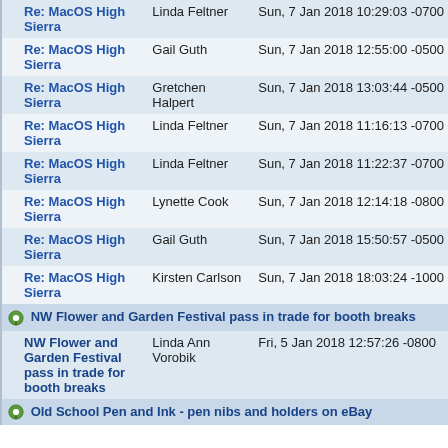| Subject | Author | Date |
| --- | --- | --- |
| Re: MacOS High Sierra | Linda Feltner | Sun, 7 Jan 2018 10:29:03 -0700 |
| Re: MacOS High Sierra | Gail Guth | Sun, 7 Jan 2018 12:55:00 -0500 |
| Re: MacOS High Sierra | Gretchen Halpert | Sun, 7 Jan 2018 13:03:44 -0500 |
| Re: MacOS High Sierra | Linda Feltner | Sun, 7 Jan 2018 11:16:13 -0700 |
| Re: MacOS High Sierra | Linda Feltner | Sun, 7 Jan 2018 11:22:37 -0700 |
| Re: MacOS High Sierra | Lynette Cook | Sun, 7 Jan 2018 12:14:18 -0800 |
| Re: MacOS High Sierra | Gail Guth | Sun, 7 Jan 2018 15:50:57 -0500 |
| Re: MacOS High Sierra | Kirsten Carlson | Sun, 7 Jan 2018 18:03:24 -1000 |
| [THREAD] NW Flower and Garden Festival pass in trade for booth breaks |  |  |
| NW Flower and Garden Festival pass in trade for booth breaks | Linda Ann Vorobik | Fri, 5 Jan 2018 12:57:26 -0800 |
| [THREAD] Old School Pen and Ink - pen nibs and holders on eBay |  |  |